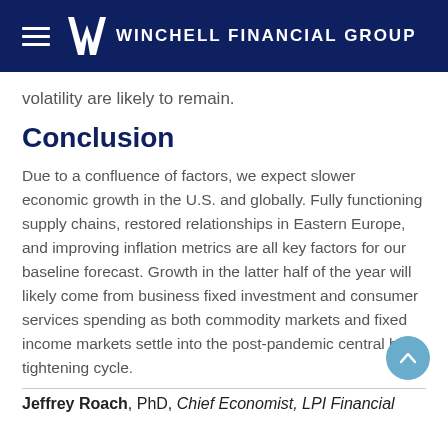Winchell Financial Group
volatility are likely to remain.
Conclusion
Due to a confluence of factors, we expect slower economic growth in the U.S. and globally. Fully functioning supply chains, restored relationships in Eastern Europe, and improving inflation metrics are all key factors for our baseline forecast. Growth in the latter half of the year will likely come from business fixed investment and consumer services spending as both commodity markets and fixed income markets settle into the post-pandemic central bank tightening cycle.
Jeffrey Roach, PhD, Chief Economist, LPI Financial